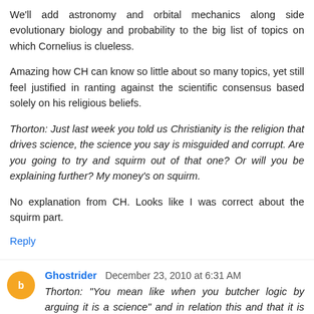We'll add astronomy and orbital mechanics along side evolutionary biology and probability to the big list of topics on which Cornelius is clueless.
Amazing how CH can know so little about so many topics, yet still feel justified in ranting against the scientific consensus based solely on his religious beliefs.
Thorton: Just last week you told us Christianity is the religion that drives science, the science you say is misguided and corrupt. Are you going to try and squirm out of that one? Or will you be explaining further? My money's on squirm.
No explanation from CH. Looks like I was correct about the squirm part.
Reply
Ghostrider December 23, 2010 at 6:31 AM
Thorton: "You mean like when you butcher logic by arguing it is a science" and in relation this and that it is not